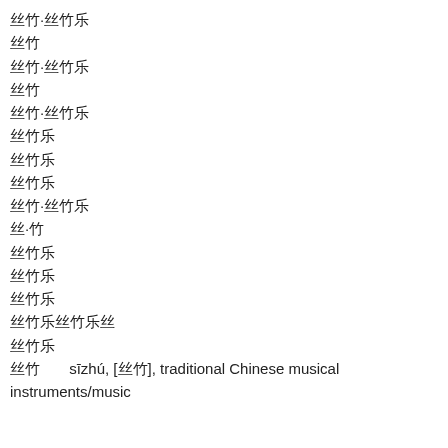丝竹·丝竹乐
丝竹
丝竹·丝竹乐
丝竹
丝竹·丝竹乐
丝竹乐
丝竹乐
丝竹乐
丝竹·丝竹乐
丝·竹
丝竹乐
丝竹乐
丝竹乐
丝竹乐丝竹乐丝
丝竹乐
丝竹   sīzhú, [丝竹], traditional Chinese musical instruments/music